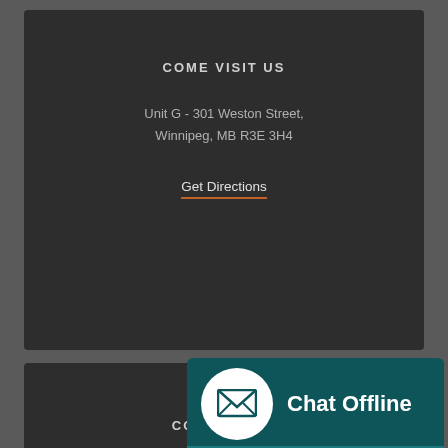COME VISIT US
Unit G - 301 Weston Street,
Winnipeg, MB R3E 3H4
Get Directions
CONTACT US
General Inquiries: (204) 772-8822
Toll Free: 1-833-847-0725
Email Us
HO...
Office: Monday - Friday: 8:30 AM - 5:00 PM
[Figure (infographic): Chat Offline widget with envelope icon in white circle on dark teal background, with Send Message button below]